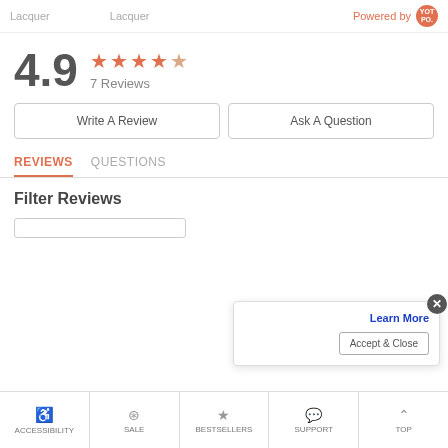Lacquer  Lacquer
Powered by [YOTPO logo]
4.9
★★★★☆ 7 Reviews
Write A Review
Ask A Question
REVIEWS   QUESTIONS
Filter Reviews
Learn More
Accept & Close
ACCESSIBILITY  SALE  BESTSELLERS  SUPPORT  TOP